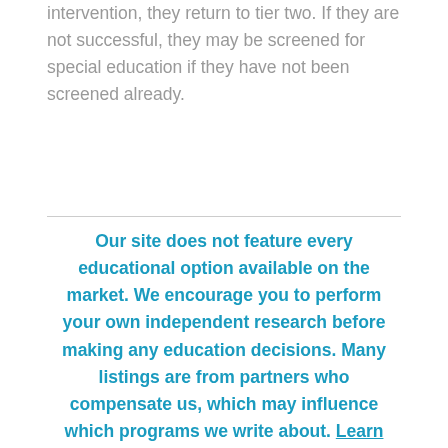If the student is successful after this intensive intervention, they return to tier two. If they are not successful, they may be screened for special education if they have not been screened already.
Our site does not feature every educational option available on the market. We encourage you to perform your own independent research before making any education decisions. Many listings are from partners who compensate us, which may influence which programs we write about. Learn more about us